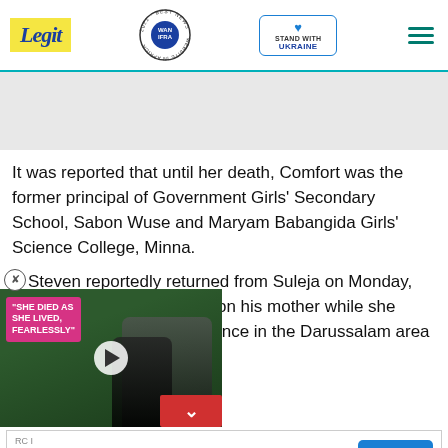Legit | WAN IFRA 2021 Best News Website in Africa | STAND WITH UKRAINE
[Figure (other): Gray advertisement banner area]
It was reported that until her death, Comfort was the former principal of Government Girls’ Secondary School, Sabon Wuse and Maryam Babangida Girls’ Science College, Minna.
Steven reportedly returned from Suleja on Monday, …trol on his mother while she …dence in the Darussalam area
[Figure (screenshot): Video overlay with pink text 'SHE DIED AS SHE LIVED, FEARLESSLY' over a photo of two people, with play button and red down-arrow button]
[Figure (other): Bottom advertisement: RC I - More Savings = More Trips - OPEN button]